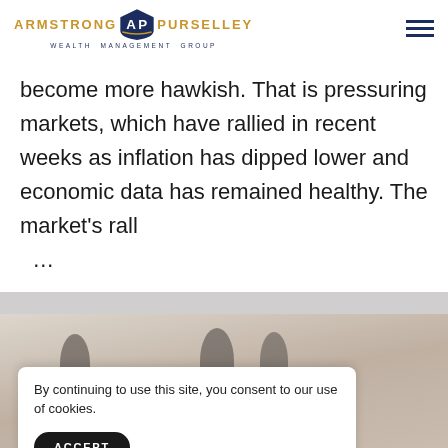ARMSTRONG AP PURSELLEY WEALTH MANAGEMENT GROUP
become more hawkish. That is pressuring markets, which have rallied in recent weeks as inflation has dipped lower and economic data has remained healthy. The market's rall …
[Figure (photo): Background photo of people in an office setting, partially visible behind a cookie consent overlay]
By continuing to use this site, you consent to our use of cookies.
ACCEPT